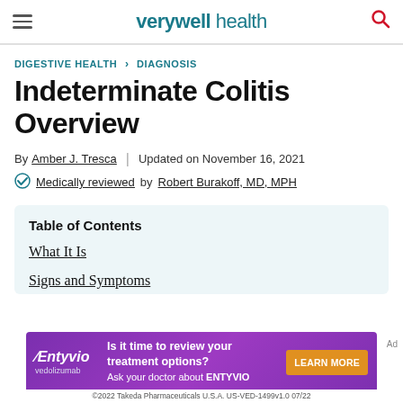verywell health
DIGESTIVE HEALTH > DIAGNOSIS
Indeterminate Colitis Overview
By Amber J. Tresca | Updated on November 16, 2021
Medically reviewed by Robert Burakoff, MD, MPH
Table of Contents
What It Is
Signs and Symptoms
[Figure (other): Entyvio (vedolizumab) advertisement banner: 'Is it time to review your treatment options? Ask your doctor about ENTYVIO. LEARN MORE. ©2022 Takeda Pharmaceuticals U.S.A. US-VED-1499v1.0 07/22']